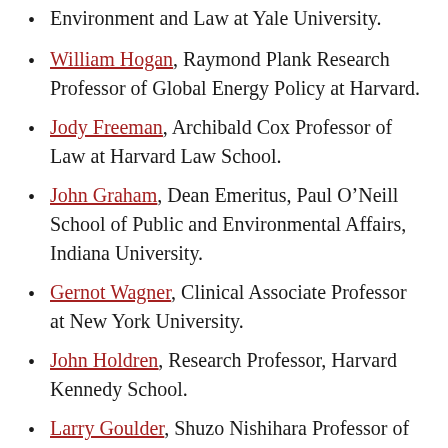Environment and Law at Yale University.
William Hogan, Raymond Plank Research Professor of Global Energy Policy at Harvard.
Jody Freeman, Archibald Cox Professor of Law at Harvard Law School.
John Graham, Dean Emeritus, Paul O’Neill School of Public and Environmental Affairs, Indiana University.
Gernot Wagner, Clinical Associate Professor at New York University.
John Holdren, Research Professor, Harvard Kennedy School.
Larry Goulder, Shuzo Nishihara Professor of Environmental and Resource Economics, Stanford University.
Suzi Kerr, Chief Economist, Environmental